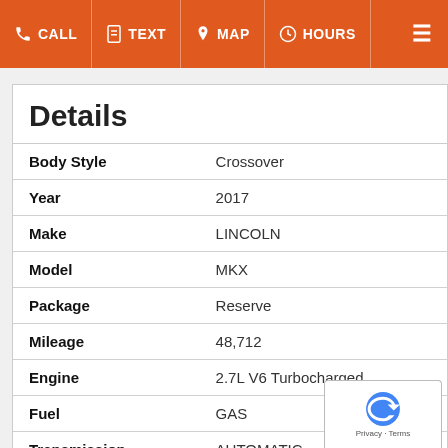CALL  TEXT  MAP  HOURS
Details
| Field | Value |
| --- | --- |
| Body Style | Crossover |
| Year | 2017 |
| Make | LINCOLN |
| Model | MKX |
| Package | Reserve |
| Mileage | 48,712 |
| Engine | 2.7L V6 Turbocharged |
| Fuel | GAS |
| Transmission | AUTOMATIC |
| Drive Type | ALL WHEEL |
| Color | Palladium White Gold Metallic - Gold |
| Interior | Terracotta Leather |